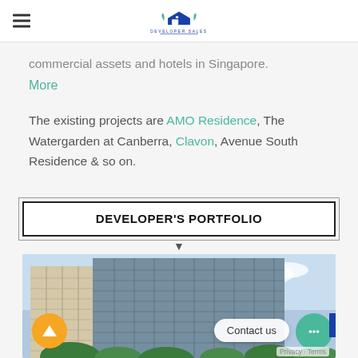Developer Sales (logo)
commercial assets and hotels in Singapore.
More
The existing projects are AMO Residence, The Watergarden at Canberra, Clavon, Avenue South Residence & so on.
DEVELOPER'S PORTFOLIO
[Figure (photo): Exterior photograph of a modern high-rise residential building with balconies and glass facade against a blue sky, with trees visible at the base.]